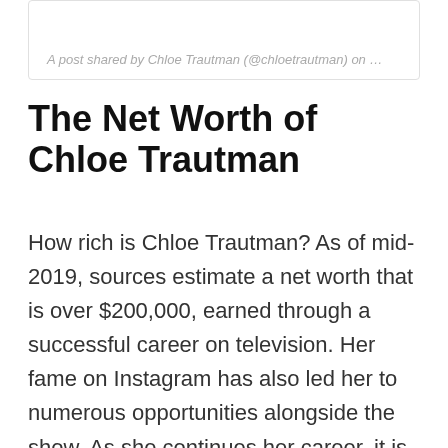A post shared by Chloe Trautman (@chloetrautman) on …
The Net Worth of Chloe Trautman
How rich is Chloe Trautman? As of mid-2019, sources estimate a net worth that is over $200,000, earned through a successful career on television. Her fame on Instagram has also led her to numerous opportunities alongside the show. As she continues her career, it is expected that her wealth will also continue to increase.